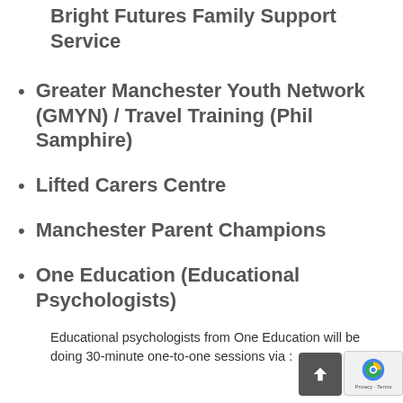Bright Futures Family Support Service
Greater Manchester Youth Network (GMYN) / Travel Training (Phil Samphire)
Lifted Carers Centre
Manchester Parent Champions
One Education (Educational Psychologists)
Educational psychologists from One Education will be doing 30-minute one-to-one sessions via :